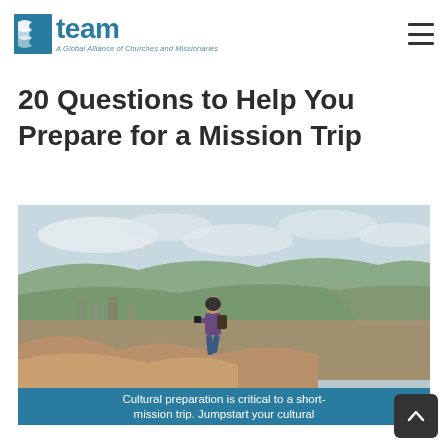team — A Global Alliance of Churches and Missionaries
20 Questions to Help You Prepare for a Mission Trip
[Figure (photo): A person with a backpack walking along a hillside dirt path overlooking a valley town with misty mountains in the background]
Cultural preparation is critical to a short-mission trip. Jumpstart your cultural